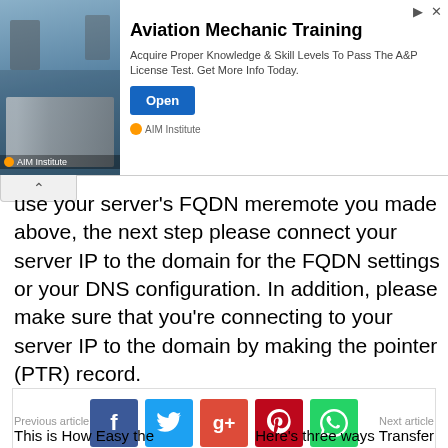[Figure (infographic): Advertisement banner for Aviation Mechanic Training by AIM Institute. Shows an image of airplane landing gear with mechanics, headline 'Aviation Mechanic Training', description text, and an Open button.]
use your server's FQDN meremote you made above, the next step please connect your server IP to the domain for the FQDN settings or your DNS configuration. In addition, please make sure that you're connecting to your server IP to the domain by making the pointer (PTR) record.
[Figure (infographic): Social share box with Facebook, Twitter, Google+, Pinterest, WhatsApp icon buttons, and Like 0 and Tweet buttons.]
Previous article
Next article
This is How Easy the
Here's three ways Transfer